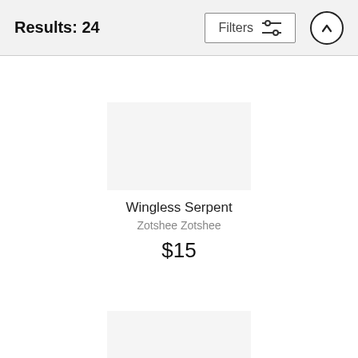Results: 24
Wingless Serpent
Zotshee Zotshee
$15
Loveable Animals Among Us
Zotshee Zotshee
$18